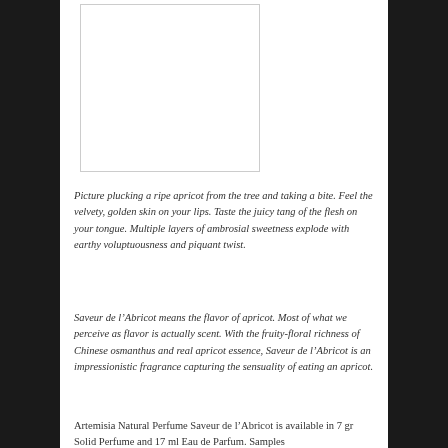[Figure (photo): White/blank rectangular image placeholder with a light gray border]
Picture plucking a ripe apricot from the tree and taking a bite. Feel the velvety, golden skin on your lips. Taste the juicy tang of the flesh on your tongue. Multiple layers of ambrosial sweetness explode with earthy voluptuousness and piquant twist.
Saveur de l’Abricot means the flavor of apricot. Most of what we perceive as flavor is actually scent. With the fruity-floral richness of Chinese osmanthus and real apricot essence, Saveur de l’Abricot is an impressionistic fragrance capturing the sensuality of eating an apricot.
Artemisia Natural Perfume Saveur de l’Abricot is available in 7 gr Solid Perfume and 17 ml Eau de Parfum. Samples